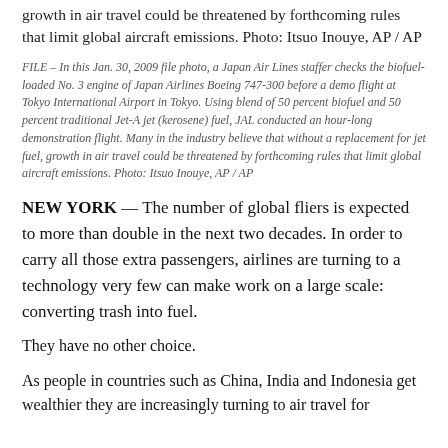growth in air travel could be threatened by forthcoming rules that limit global aircraft emissions. Photo: Itsuo Inouye, AP / AP
FILE – In this Jan. 30, 2009 file photo, a Japan Air Lines staffer checks the biofuel-loaded No. 3 engine of Japan Airlines Boeing 747-300 before a demo flight at Tokyo International Airport in Tokyo. Using blend of 50 percent biofuel and 50 percent traditional Jet-A jet (kerosene) fuel, JAL conducted an hour-long demonstration flight. Many in the industry believe that without a replacement for jet fuel, growth in air travel could be threatened by forthcoming rules that limit global aircraft emissions. Photo: Itsuo Inouye, AP / AP
NEW YORK — The number of global fliers is expected to more than double in the next two decades. In order to carry all those extra passengers, airlines are turning to a technology very few can make work on a large scale: converting trash into fuel.
They have no other choice.
As people in countries such as China, India and Indonesia get wealthier they are increasingly turning to air travel for